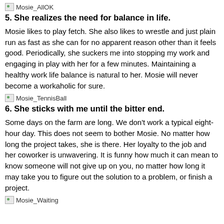[Figure (photo): Image placeholder labeled Mosie_AllOK]
5. She realizes the need for balance in life.
Mosie likes to play fetch. She also likes to wrestle and just plain run as fast as she can for no apparent reason other than it feels good. Periodically, she suckers me into stopping my work and engaging in play with her for a few minutes. Maintaining a healthy work life balance is natural to her. Mosie will never become a workaholic for sure.
[Figure (photo): Image placeholder labeled Mosie_TennisBall]
6. She sticks with me until the bitter end.
Some days on the farm are long. We don't work a typical eight-hour day. This does not seem to bother Mosie. No matter how long the project takes, she is there. Her loyalty to the job and her coworker is unwavering. It is funny how much it can mean to know someone will not give up on you, no matter how long it may take you to figure out the solution to a problem, or finish a project.
[Figure (photo): Image placeholder labeled Mosie_Waiting]